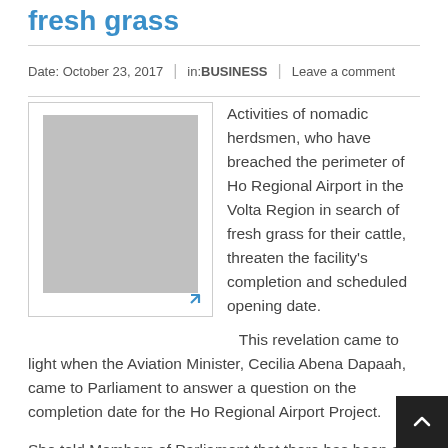fresh grass
Date: October 23, 2017 | in: BUSINESS | Leave a comment
[Figure (photo): Gray placeholder image with resize arrow icon in bottom-right corner]
Activities of nomadic herdsmen, who have breached the perimeter of Ho Regional Airport in the Volta Region in search of fresh grass for their cattle, threaten the facility's completion and scheduled opening date.
This revelation came to light when the Aviation Minister, Cecilia Abena Dapaah, came to Parliament to answer a question on the completion date for the Ho Regional Airport Project.
She told Members of Parliament that there has been a reported challenge of Fulani Herdsmen cutting the perimeter fence wall for their animals to graze on the green field.